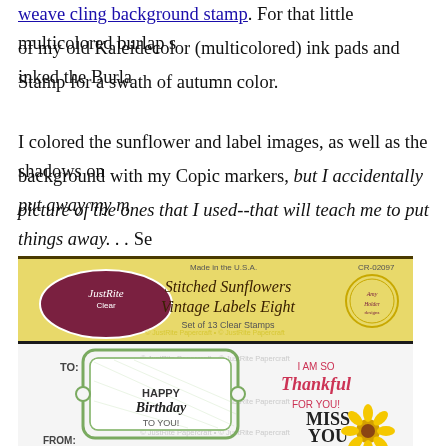weave cling background stamp. For that little multicolored burlap s... of my old Kaleidecolor (multicolored) ink pads and inked the Burla... Stamp for a swath of autumn color.
I colored the sunflower and label images, as well as the shadows on... background with my Copic markers, but I accidentally put away my m... picture of the ones that I used--that will teach me to put things away. . . Se...
[Figure (photo): Product image of JustRite Clear stamp set - Stitched Sunflowers Vintage Labels Eight, Set of 13 Clear Stamps, CR-02097. Below it shows individual stamps including labels with 'TO:', 'FROM:', 'HAPPY Birthday TO YOU!', 'I AM SO Thankful FOR YOU!', 'MISS YOU', and a sunflower.]